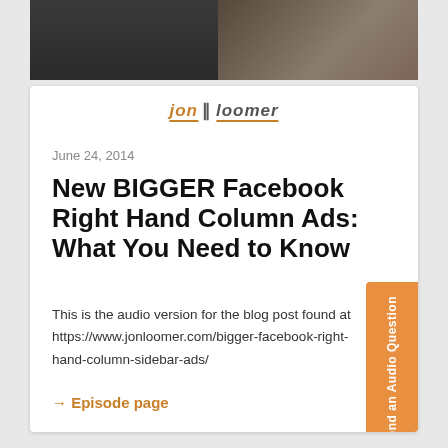[Figure (photo): Dark hero/header image with a person in the background, sepia/dark tones]
[Figure (logo): Jon Loomer logo - orange and gray italic text with orange underline bar]
June 24, 2014
New BIGGER Facebook Right Hand Column Ads: What You Need to Know
This is the audio version for the blog post found at https://www.jonloomer.com/bigger-facebook-right-hand-column-sidebar-ads/
→ Episode page